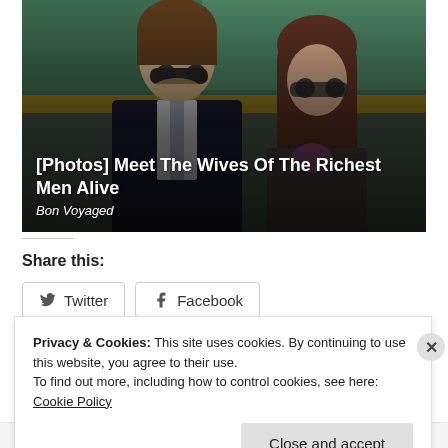[Figure (photo): Two people sitting in stadium seating at what appears to be a tennis event. An older man in a dark suit with sunglasses is on the left, and a young woman with long brown hair and sunglasses is on the right. Green stadium seats are visible in the background.]
[Photos] Meet The Wives Of The Richest Men Alive
Bon Voyaged
Share this:
Twitter  Facebook
Privacy & Cookies: This site uses cookies. By continuing to use this website, you agree to their use.
To find out more, including how to control cookies, see here: Cookie Policy
Close and accept